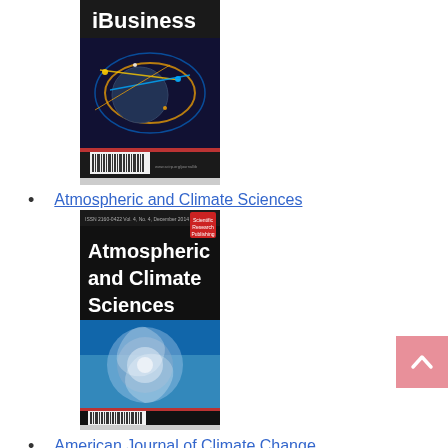[Figure (illustration): Cover of iBusiness journal showing globe with glowing network connections, dark background with orange and blue colors, barcode at bottom]
Atmospheric and Climate Sciences
[Figure (illustration): Cover of Atmospheric and Climate Sciences journal showing bold white text on dark background over satellite image of hurricane/cyclone]
American Journal of Climate Change
[Figure (illustration): Cover of American Journal of Climate Change journal, partially visible at bottom]
[Figure (other): Pink back-to-top button with upward arrow chevron in bottom-right corner]